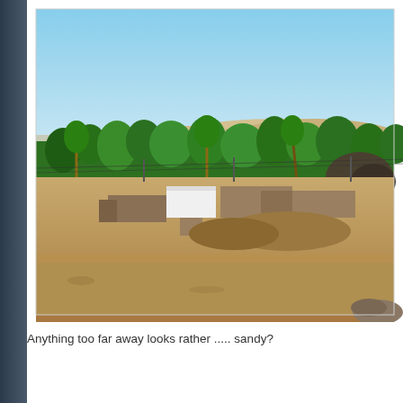[Figure (photo): A desert village scene showing mud-brick buildings and thatched structures in the foreground, with a band of green trees (including palm trees) in the middle ground, sandy desert hills in the background, and a clear blue sky above. Power lines are visible. The landscape is very arid and sandy.]
Anything too far away looks rather ..... sandy?